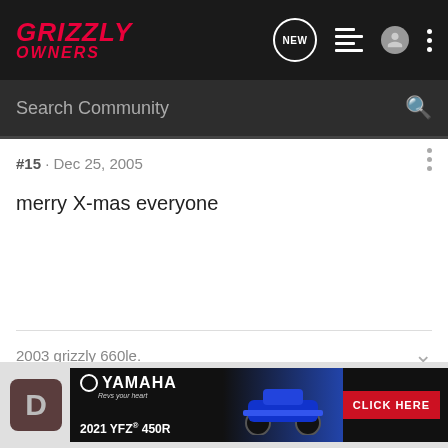GRIZZLY OWNERS
#15 · Dec 25, 2005
merry X-mas everyone
2003 grizzly 660le.
[Figure (screenshot): Yamaha 2021 YFZ 450R advertisement banner with CLICK HERE button]